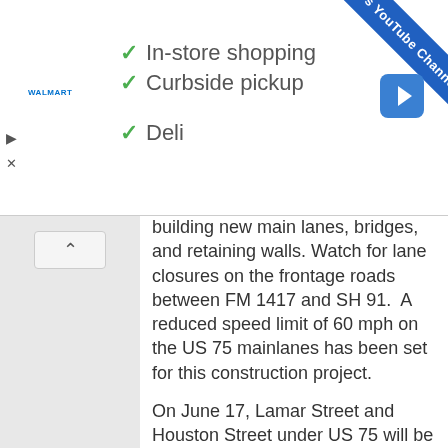[Figure (screenshot): Walmart ad banner showing checkmarks for In-store shopping, Curbside pickup, and partially visible Delivery option, with KSST YouTube Channel diagonal ribbon banner and blue navigation arrow icon]
building new main lanes, bridges, and retaining walls. Watch for lane closures on the frontage roads between FM 1417 and SH 91.  A reduced speed limit of 60 mph on the US 75 mainlanes has been set for this construction project.
On June 17, Lamar Street and Houston Street under US 75 will be closed to through traffic with detour signs in place to guide motorists around this intersection. Video animation of